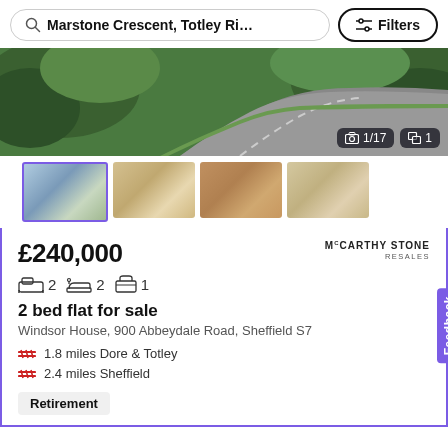[Figure (screenshot): Search bar with query 'Marstone Crescent, Totley Ri...' and Filters button]
[Figure (photo): Main property photo showing a curved driveway with green landscaping]
[Figure (photo): Four property thumbnail photos: exterior, living room, study with bookshelves, dining room]
£240,000
McCARTHY STONE RESALES
2 bed flat for sale
Windsor House, 900 Abbeydale Road, Sheffield S7
1.8 miles Dore & Totley
2.4 miles Sheffield
Retirement